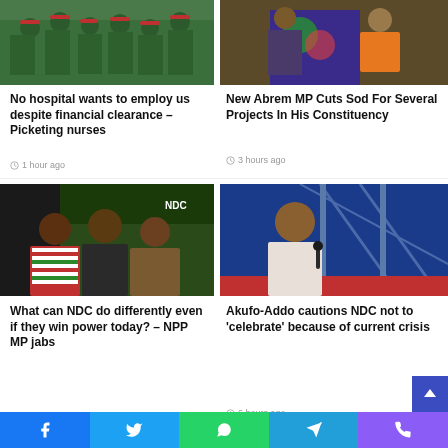[Figure (photo): Group of nurses in green uniforms with red head bands]
[Figure (photo): New Abrem MP cutting sod, person in orange reflective vest]
No hospital wants to employ us despite financial clearance – Picketing nurses
1 hour ago
New Abrem MP Cuts Sod For Several Projects In His Constituency
3 hours ago
[Figure (photo): NDC officials in discussion, man in striped shirt and man in smock]
[Figure (photo): Akufo-Addo speaking at event with microphone, blue background]
What can NDC do differently even if they win power today? – NPP MP jabs
Akufo-Addo cautions NDC not to 'celebrate' because of current crisis
6 hours ago